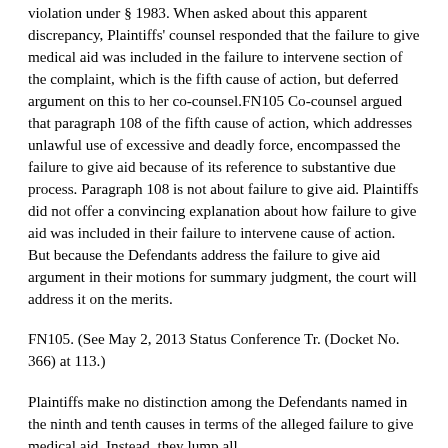violation under § 1983. When asked about this apparent discrepancy, Plaintiffs' counsel responded that the failure to give medical aid was included in the failure to intervene section of the complaint, which is the fifth cause of action, but deferred argument on this to her co-counsel.FN105 Co-counsel argued that paragraph 108 of the fifth cause of action, which addresses unlawful use of excessive and deadly force, encompassed the failure to give aid because of its reference to substantive due process. Paragraph 108 is not about failure to give aid. Plaintiffs did not offer a convincing explanation about how failure to give aid was included in their failure to intervene cause of action. But because the Defendants address the failure to give aid argument in their motions for summary judgment, the court will address it on the merits.
FN105. (See May 2, 2013 Status Conference Tr. (Docket No. 366) at 113.)
Plaintiffs make no distinction among the Defendants named in the ninth and tenth causes in terms of the alleged failure to give medical aid. Instead, they lump all